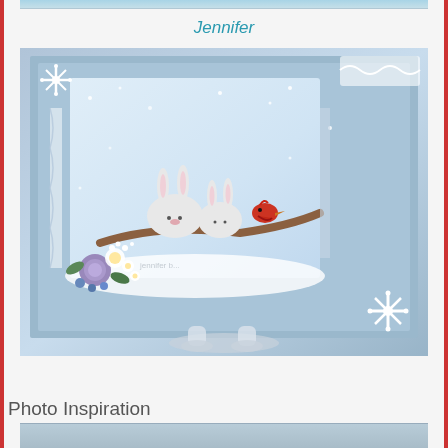Jennifer
[Figure (photo): A handmade winter craft card featuring two bunnies on a branch with a red bird, surrounded by blue floral and lace embellishments, snowflakes, and placed on a decorative stand. The card has layered blue and white patterned paper with lace trim.]
Photo Inspiration